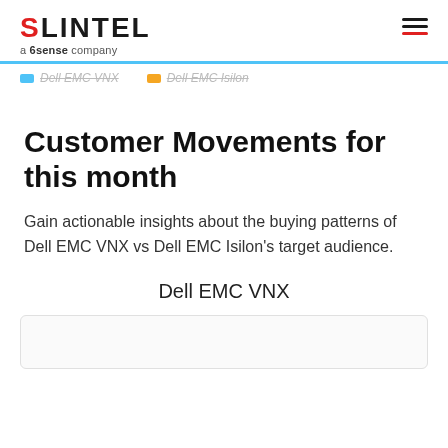SLINTEL a 6sense company
Dell EMC VNX | Dell EMC Isilon
Customer Movements for this month
Gain actionable insights about the buying patterns of Dell EMC VNX vs Dell EMC Isilon's target audience.
Dell EMC VNX